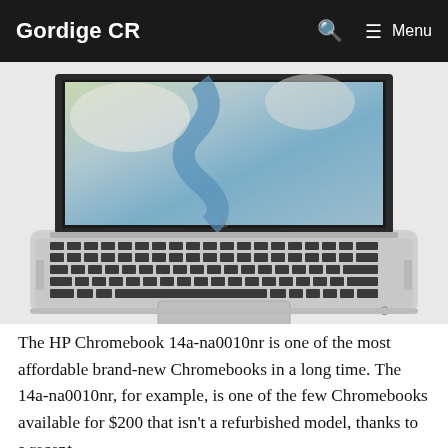Gordige CR  🔍  ☰ Menu
[Figure (photo): HP Chromebook 14a-na0010nr laptop open showing keyboard and screen with satellite/map imagery displayed, silver/white chassis, viewed from slightly above front angle]
The HP Chromebook 14a-na0010nr is one of the most affordable brand-new Chromebooks in a long time. The 14a-na0010nr, for example, is one of the few Chromebooks available for $200 that isn't a refurbished model, thanks to a recent